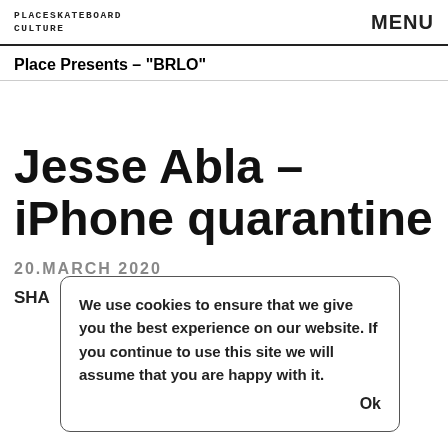PLACESKATEBOARD CULTURE | MENU
Place Presents – "BRLO"
Jesse Abla – iPhone quarantine
20.MARCH 2020
SHA
We use cookies to ensure that we give you the best experience on our website. If you continue to use this site we will assume that you are happy with it. Ok